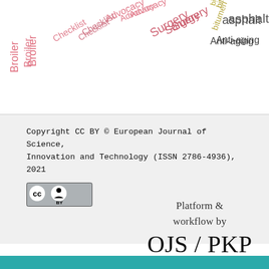[Figure (other): Word cloud with terms including Broiler, Checklist, Advocacy, Surgery, bitumen, asphalt, Anti-aging, Potencies in various colors and orientations]
Copyright CC BY © European Journal of Science, Innovation and Technology (ISSN 2786-4936), 2021
[Figure (logo): Creative Commons CC BY license badge]
Platform & workflow by OJS/PKP